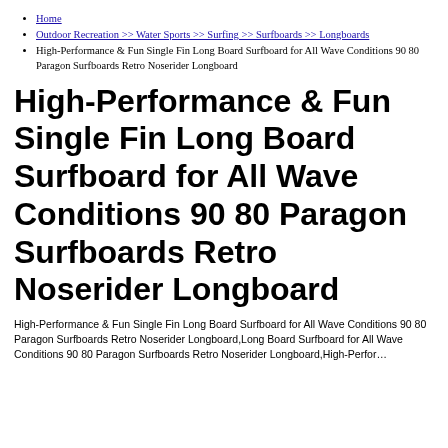Home
Outdoor Recreation >> Water Sports >> Surfing >> Surfboards >> Longboards
High-Performance & Fun Single Fin Long Board Surfboard for All Wave Conditions 90 80 Paragon Surfboards Retro Noserider Longboard
High-Performance & Fun Single Fin Long Board Surfboard for All Wave Conditions 90 80 Paragon Surfboards Retro Noserider Longboard
High-Performance & Fun Single Fin Long Board Surfboard for All Wave Conditions 90 80 Paragon Surfboards Retro Noserider Longboard,Long Board Surfboard for All Wave Conditions 90 80 Paragon Surfboards Retro Noserider Longboard High-Perfor…